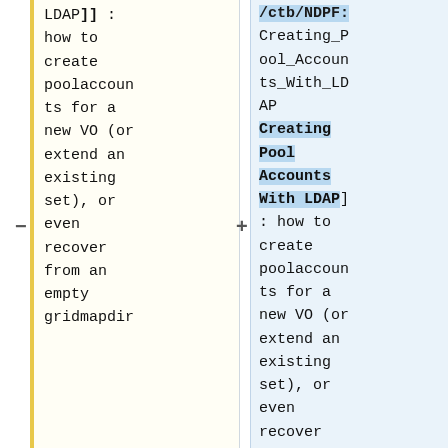LDAP]] : how to create poolaccounts for a new VO (or extend an existing set), or even recover from an empty gridmapdir
/ctb/NDPF: Creating_Pool_Accounts_With_LDAP Creating Pool Accounts With LDAP] : how to create poolaccounts for a new VO (or extend an existing set), or even recover from an empty gridmapdir